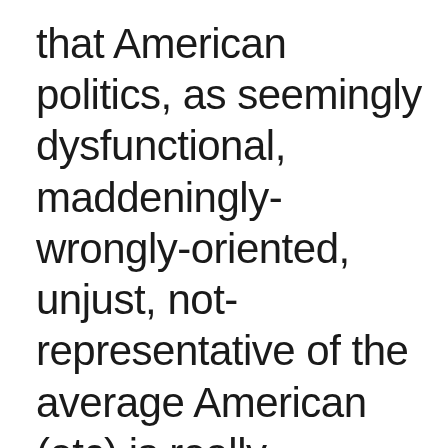that American politics, as seemingly dysfunctional, maddeningly-wrongly-oriented, unjust, not-representative of the average American (etc) is really functioning exactly as designed - which it to serve a very